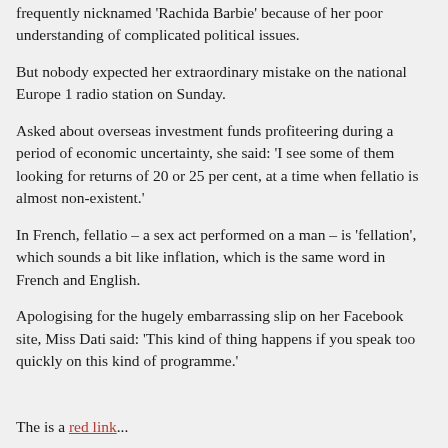frequently nicknamed 'Rachida Barbie' because of her poor understanding of complicated political issues.
But nobody expected her extraordinary mistake on the national Europe 1 radio station on Sunday.
Asked about overseas investment funds profiteering during a period of economic uncertainty, she said: ‘I see some of them looking for returns of 20 or 25 per cent, at a time when fellatio is almost non-existent.’
In French, fellatio – a sex act performed on a man – is ‘fellation’, which sounds a bit like inflation, which is the same word in French and English.
Apologising for the hugely embarrassing slip on her Facebook site, Miss Dati said: ‘This kind of thing happens if you speak too quickly on this kind of programme.’
The is a red link...